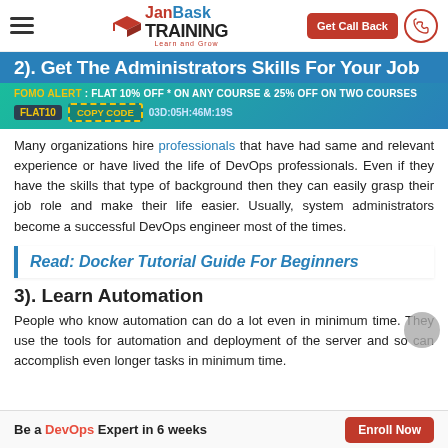JanBask TRAINING — Learn and Grow | Get Call Back
2). Get The Administrators Skills For Your Job
FOMO ALERT : FLAT 10% OFF * ON ANY COURSE & 25% OFF ON TWO COURSES | FLAT10 COPY CODE 03D:05H:46M:19S
Many organizations hire professionals that have had same and relevant experience or have lived the life of DevOps professionals. Even if they have the skills that type of background then they can easily grasp their job role and make their life easier. Usually, system administrators become a successful DevOps engineer most of the times.
Read: Docker Tutorial Guide For Beginners
3). Learn Automation
People who know automation can do a lot even in minimum time. They use the tools for automation and deployment of the server and so can accomplish even longer tasks in minimum time.
Be a DevOps Expert in 6 weeks — Enroll Now